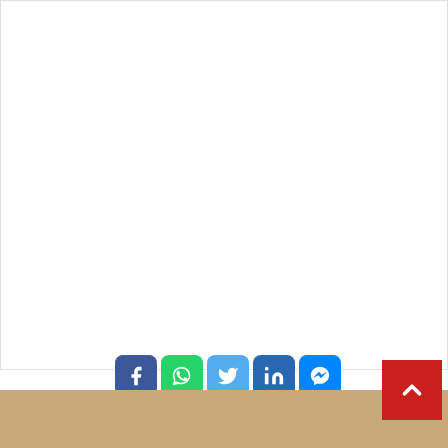[Figure (screenshot): White content area (blank/advertisement space) with a thin border, occupying the upper portion of the page.]
[Figure (infographic): Row of social media share buttons: Facebook (blue rounded square), WhatsApp (green rounded square), Twitter (light blue rounded square), LinkedIn (blue rounded square), Messenger (blue rounded square). Second row: Digg (black rounded square), Email (blue rounded square), Print (blue rounded square).]
[Figure (photo): Sandy/beige background at the bottom of the page, with a red scroll-to-top button featuring a white upward chevron arrow on the right side.]